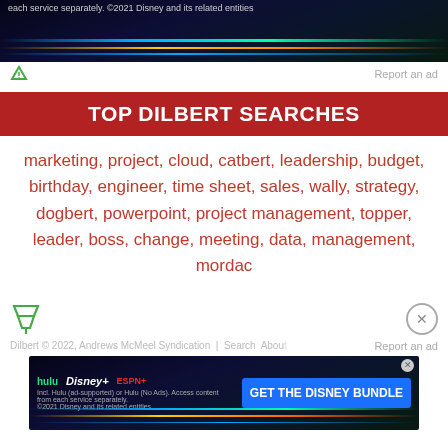[Figure (screenshot): Top advertisement banner showing Disney Bundle ad with streaming service logos and colored diagonal lines on dark background]
Report an ad
TOP DILBERT SEARCHES
marketing, project, cloud, catbert, leadership, budget, birthday, engineer, time sheet, sales, wally, strategy, dogbert, powerpoint, project management, topper, leader, boss, change, meeting, data, management, mordac
[Figure (logo): Green filter/funnel icon (ad indicator)]
Report an ad
Dilbert © 2022, Andrews McMeel Syndication | Search About
[Figure (screenshot): Bottom Disney Bundle advertisement with hulu, Disney+, ESPN+ logos and GET THE DISNEY BUNDLE call-to-action button on dark background with colored lines]